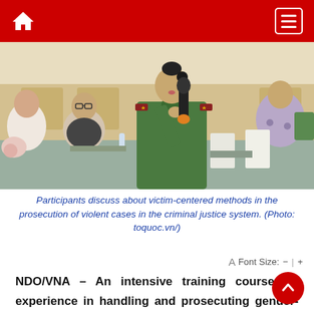Navigation bar with home and menu icons
[Figure (photo): A woman in a green Vietnamese police/military uniform speaking into a microphone at a conference table, surrounded by other participants including women wearing glasses. The setting appears to be a formal meeting room with ornate decor.]
Participants discuss about victim-centered methods in the prosecution of violent cases in the criminal justice system. (Photo: toquoc.vn/)
A Font Size: − | +
NDO/VNA – An intensive training course on experience in handling and prosecuting gender-based violence and abuse against women and children wrapped up in Hoang Hoa district of the